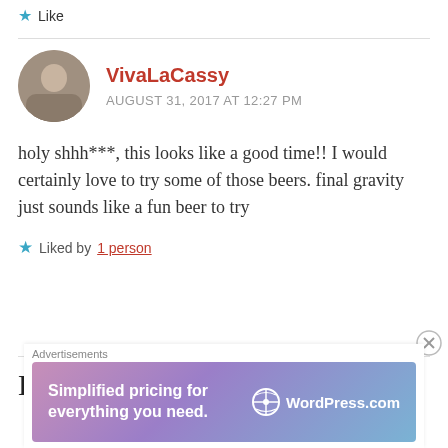Like
VivaLaCassy
AUGUST 31, 2017 AT 12:27 PM
holy shhh***, this looks like a good time!! I would certainly love to try some of those beers. final gravity just sounds like a fun beer to try
Liked by 1 person
Leave a Reply
[Figure (screenshot): WordPress.com advertisement banner: 'Simplified pricing for everything you need.' with WordPress logo on gradient purple-blue background]